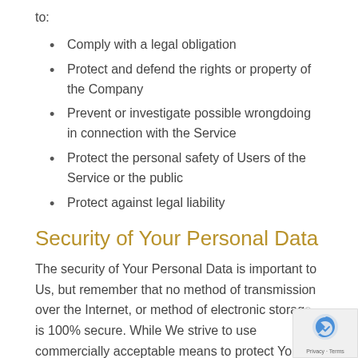to:
Comply with a legal obligation
Protect and defend the rights or property of the Company
Prevent or investigate possible wrongdoing in connection with the Service
Protect the personal safety of Users of the Service or the public
Protect against legal liability
Security of Your Personal Data
The security of Your Personal Data is important to Us, but remember that no method of transmission over the Internet, or method of electronic storage is 100% secure. While We strive to use commercially acceptable means to protect Your